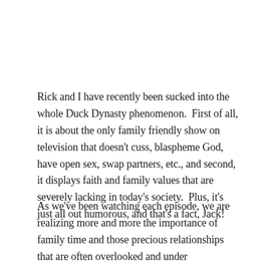Rick and I have recently been sucked into the whole Duck Dynasty phenomenon.  First of all, it is about the only family friendly show on television that doesn't cuss, blaspheme God, have open sex, swap partners, etc., and second, it displays faith and family values that are severely lacking in today's society.  Plus, it's just all out humorous, and that's a fact, Jack!
As we've been watching each episode, we are realizing more and more the importance of family time and those precious relationships that are often overlooked and under appreciated.